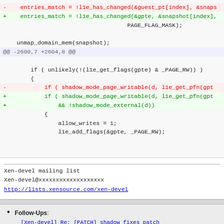- entries_match = !l1e_has_changed(&guest_pt[index], &snaps
+ entries_match = !l1e_has_changed(&gpte, &snapshot[index],
                                    PAGE_FLAG_MASK);

    unmap_domain_mem(snapshot);
@@ -2600,7 +2604,8 @@

        if ( unlikely(!(l1e_get_flags(gpte) & _PAGE_RW)) )
        {
-           if ( shadow_mode_page_writable(d, l1e_get_pfn(gpt
+           if ( shadow_mode_page_writable(d, l1e_get_pfn(gpt
+               && !shadow_mode_external(d))
            {
                allow_writes = 1;
                l1e_add_flags(&gpte, _PAGE_RW);
Xen-devel mailing list
Xen-devel@xxxxxxxxxxxxxxxxxxx
http://lists.xensource.com/xen-devel
Follow-Ups:
[Xen-devel] Re: [PATCH] shadow fixes patch